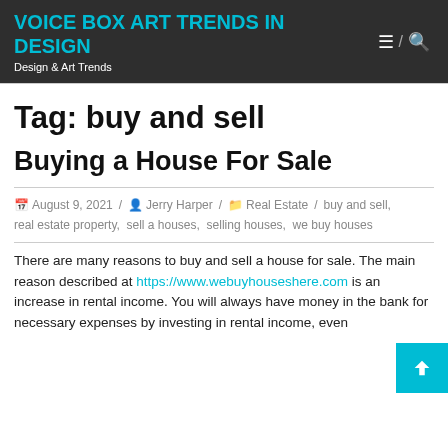VOICE BOX ART TRENDS IN DESIGN
Design & Art Trends
Tag: buy and sell
Buying a House For Sale
August 9, 2021 / Jerry Harper / Real Estate / buy and sell, real estate property, sell a houses, selling houses, we buy houses
There are many reasons to buy and sell a house for sale. The main reason described at https://www.webuyhouseshere.com is an increase in rental income. You will always have money in the bank for necessary expenses by investing in rental income, even